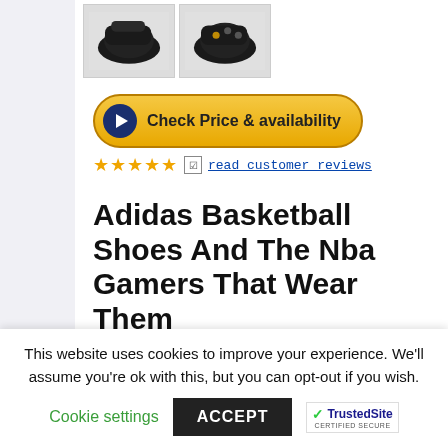[Figure (photo): Two black Adidas basketball shoes shown from above against white background]
[Figure (other): Button: Check Price & availability with play icon circle and star ratings with read customer reviews link]
Adidas Basketball Shoes And The Nba Gamers That Wear Them
So, if you wish to
This website uses cookies to improve your experience. We'll assume you're ok with this, but you can opt-out if you wish.
Cookie settings
ACCEPT
[Figure (logo): TrustedSite CERTIFIED SECURE logo]